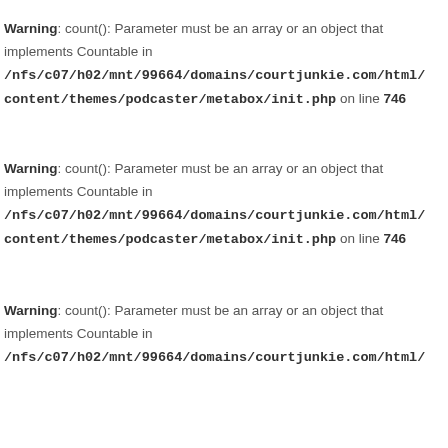Warning: count(): Parameter must be an array or an object that implements Countable in /nfs/c07/h02/mnt/99664/domains/courtjunkie.com/html/content/themes/podcaster/metabox/init.php on line 746
Warning: count(): Parameter must be an array or an object that implements Countable in /nfs/c07/h02/mnt/99664/domains/courtjunkie.com/html/content/themes/podcaster/metabox/init.php on line 746
Warning: count(): Parameter must be an array or an object that implements Countable in /nfs/c07/h02/mnt/99664/domains/courtjunkie.com/html/content/themes/podcaster/metabox/init.php on line 746